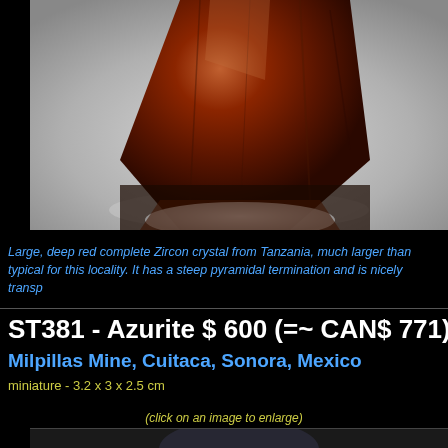[Figure (photo): Close-up photograph of a large deep red Zircon crystal from Tanzania on a grey/white background, showing steep pyramidal termination]
Large, deep red complete Zircon crystal from Tanzania, much larger than typical for this locality. It has a steep pyramidal termination and is nicely transp
ST381 - Azurite $ 600 (=~ CAN$ 771)
Milpillas Mine, Cuitaca, Sonora, Mexico
miniature - 3.2 x 3 x 2.5 cm
(click on an image to enlarge)
[Figure (photo): Bottom portion of mineral specimen photo, partially visible - dark background with specimen beginning to show]